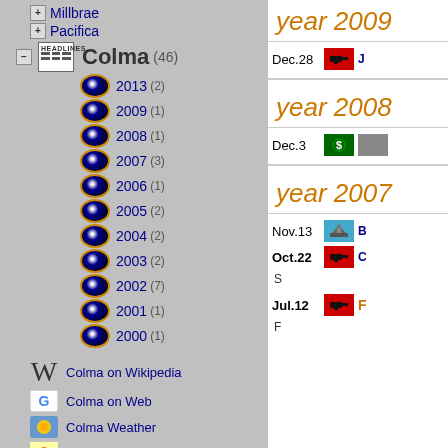Millbrae
Pacifica
Colma (46)
2013 (2)
2009 (1)
2008 (1)
2007 (3)
2006 (1)
2005 (2)
2004 (2)
2003 (2)
2002 (7)
2001 (1)
2000 (1)
Colma on Wikipedia
Colma on Web
Colma Weather
Colma Map
Colma from Space
year 2009
Dec.28
year 2008
Dec.3
year 2007
Nov.13
Oct.22
Jul.12